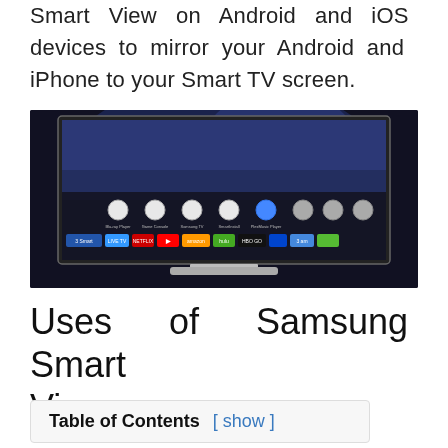Smart View on Android and iOS devices to mirror your Android and iPhone to your Smart TV screen.
[Figure (photo): A Samsung Smart TV displaying the Smart Hub interface with app icons including Blu-ray Player, Game Console, Samsung TV, Smart Install, Plexus, Live TV, Netflix, YouTube, Amazon, Hulu, HBO Go, and other streaming apps on a dark background.]
Uses of Samsung Smart View
Table of Contents [show]